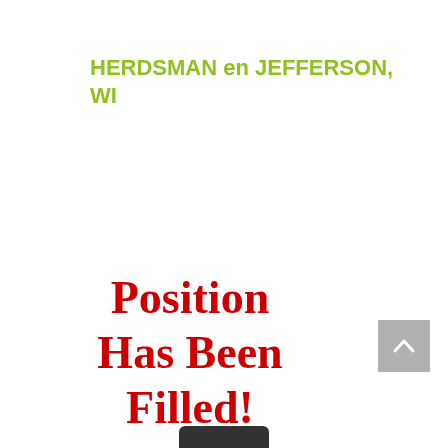HERDSMAN en JEFFERSON, WI
Position Has Been Filled!